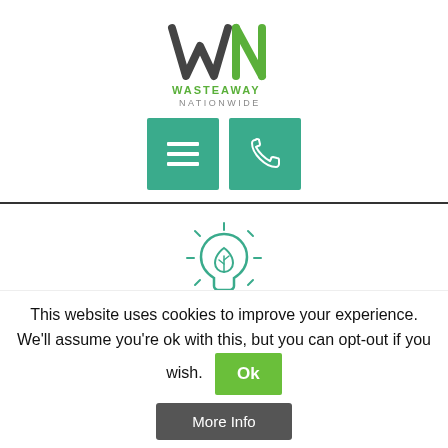[Figure (logo): WasteAway Nationwide logo with stylized W/N lettermark in dark grey and green]
[Figure (other): Two teal navigation buttons: hamburger menu icon and phone icon]
[Figure (illustration): Teal outline icon of a lightbulb with a leaf/plant inside and rays around it]
Better management of waste resources for businesses of all sizes
This website uses cookies to improve your experience. We'll assume you're ok with this, but you can opt-out if you wish.
Ok
More Info